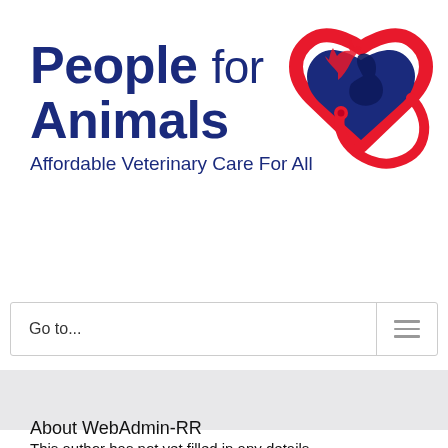[Figure (logo): People for Animals logo with a heart shape containing a cat and dog silhouette, and a red stethoscope, with text 'People for Animals' and tagline 'Affordable Veterinary Care For All']
Go to...
About WebAdmin-RR
This author has not yet filled in any details.